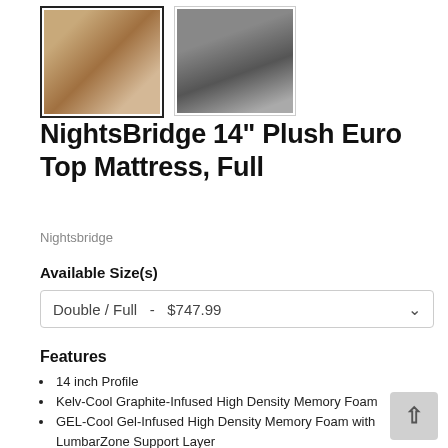[Figure (photo): Two product thumbnail images of a mattress. First image (selected, with black border) shows a bedroom scene with a grey upholstered bed. Second image shows a close-up of a dark grey mattress on a bed frame.]
NightsBridge 14" Plush Euro Top Mattress, Full
Nightsbridge
Available Size(s)
Double / Full  -  $747.99
Features
14 inch Profile
Kelv-Cool Graphite-Infused High Density Memory Foam
GEL-Cool Gel-Infused High Density Memory Foam with LumbarZone Support Layer
Dynamic-Response MicroCoil Cool Compression Layer